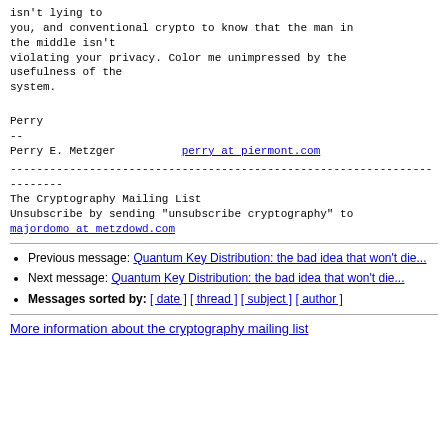isn't lying to
you, and conventional crypto to know that the man in the middle isn't
violating your privacy. Color me unimpressed by the usefulness of the
system.
Perry
--
Perry E. Metzger    perry at piermont.com
------------------------------------------------------------------------
The Cryptography Mailing List
Unsubscribe by sending "unsubscribe cryptography" to majordomo at metzdowd.com
Previous message: Quantum Key Distribution: the bad idea that won't die...
Next message: Quantum Key Distribution: the bad idea that won't die...
Messages sorted by: [ date ] [ thread ] [ subject ] [ author ]
More information about the cryptography mailing list